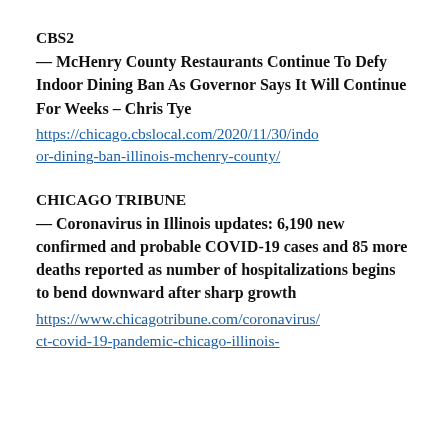CBS2
— McHenry County Restaurants Continue To Defy Indoor Dining Ban As Governor Says It Will Continue For Weeks – Chris Tye
https://chicago.cbslocal.com/2020/11/30/indoor-dining-ban-illinois-mchenry-county/
CHICAGO TRIBUNE
— Coronavirus in Illinois updates: 6,190 new confirmed and probable COVID-19 cases and 85 more deaths reported as number of hospitalizations begins to bend downward after sharp growth
https://www.chicagotribune.com/coronavirus/ct-covid-19-pandemic-chicago-illinois-